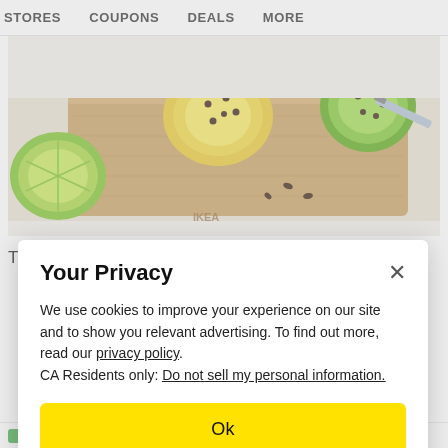STORES   COUPONS   DEALS   MORE
[Figure (photo): Photo of citrus fruits (lemon and lime halves) with cloves on a wooden cutting board. An IKEA-branded cutting board is visible.]
The smells of citrus and clove may be appealing to
Your Privacy
We use cookies to improve your experience on our site and to show you relevant advertising. To find out more, read our privacy policy.
CA Residents only: Do not sell my personal information.
Ok
(3) Get Your Personality Result